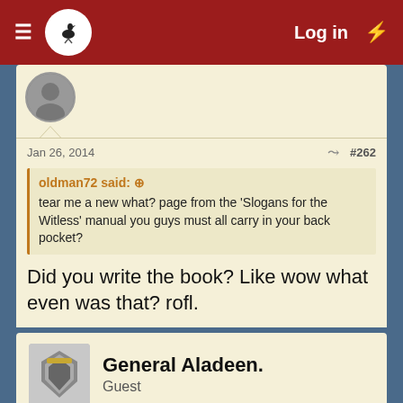Log in
Jan 26, 2014  #262
oldman72 said: tear me a new what? page from the 'Slogans for the Witless' manual you guys must all carry in your back pocket?
Did you write the book? Like wow what even was that? rofl.
General Aladeen. Guest
Jan 26, 2014  #263
Thats my boy said: Did you write the book? Like wow what even was that? rofl.
Did you know you can also visit us on our Discord chat? Come and
yeah he is an oldman what do you expect